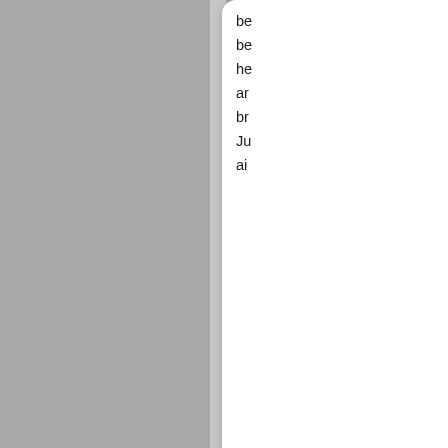be be he ar br Ju ai
Authe
We use pure and natural products . CocoSheba F with natural oils and b Defiant Factors that pr and protection from elements. The Body C vitamins and anti-oxidan